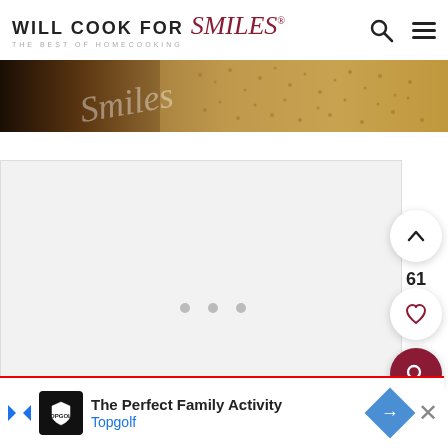WILL COOK FOR Smiles® THE BEST OF HOMECOOKING
[Figure (photo): Close-up food photo strip showing bread or similar baked good with sesame seeds, with cursive 'Smiles' watermark overlay]
[Figure (screenshot): Gray content placeholder card with three dot indicators at the bottom, and floating action buttons on the right: up arrow button, count of 61, heart button, and dark red search button]
61
The Perfect Family Activity Topgolf